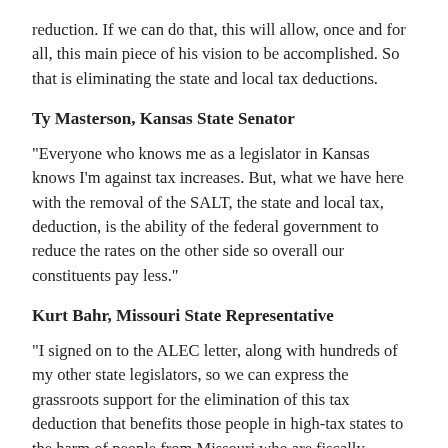reduction. If we can do that, this will allow, once and for all, this main piece of his vision to be accomplished. So that is eliminating the state and local tax deductions.
Ty Masterson, Kansas State Senator
“Everyone who knows me as a legislator in Kansas knows I’m against tax increases. But, what we have here with the removal of the SALT, the state and local tax, deduction, is the ability of the federal government to reduce the rates on the other side so overall our constituents pay less.”
Kurt Bahr, Missouri State Representative
“I signed on to the ALEC letter, along with hundreds of my other state legislators, so we can express the grassroots support for the elimination of this tax deduction that benefits those people in high-tax states to the harm of people from Missouri who are fiscally responsible enough and want to maintain a lower tax burden for our